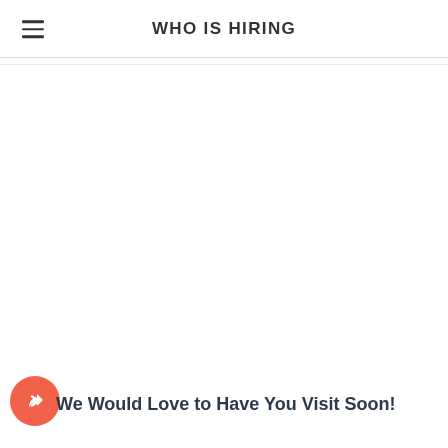WHO IS HIRING
We Would Love to Have You Visit Soon!